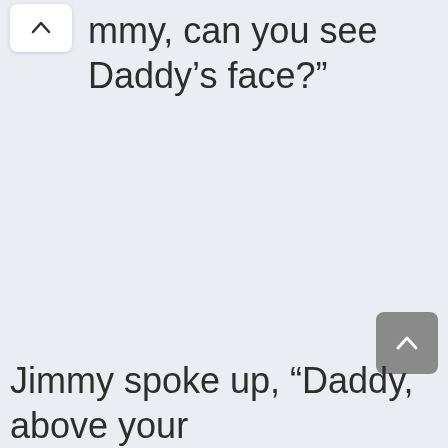[Figure (screenshot): Scroll up button (chevron up icon) in a white rounded rectangle, top-left corner of the screen]
mmy, can you see Daddy’s face?”
[Figure (screenshot): Scroll up button (chevron up icon) in a gray rounded rectangle, bottom-right corner of the screen]
Jimmy spoke up, “Daddy, above your